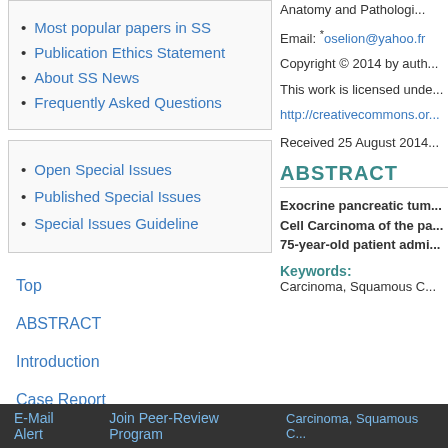Most popular papers in SS
Publication Ethics Statement
About SS News
Frequently Asked Questions
Open Special Issues
Published Special Issues
Special Issues Guideline
Top
ABSTRACT
Introduction
Case Report
Discussion
Anatomy and Pathologi...
Email: *oselion@yahoo.fr
Copyright © 2014 by auth...
This work is licensed unde...
http://creativecommons.or...
Received 25 August 2014...
ABSTRACT
Exocrine pancreatic tum... Cell Carcinoma of the pa... 75-year-old patient admi...
Keywords:
Carcinoma, Squamous C...
E-Mail Alert    Join Peer-Review Program    Carcinoma, Squamous C...